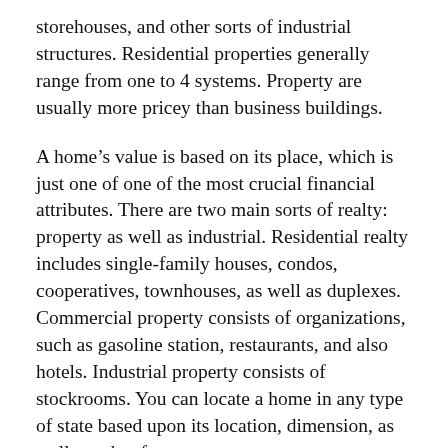storehouses, and other sorts of industrial structures. Residential properties generally range from one to 4 systems. Property are usually more pricey than business buildings.
A home's value is based on its place, which is just one of one of the most crucial financial attributes. There are two main sorts of realty: property as well as industrial. Residential realty includes single-family houses, condos, cooperatives, townhouses, as well as duplexes. Commercial property consists of organizations, such as gasoline station, restaurants, and also hotels. Industrial property consists of stockrooms. You can locate a home in any type of state based upon its location, dimension, as well as other factors.
What makes real estate various from other property? Real estate consists of not only land, but